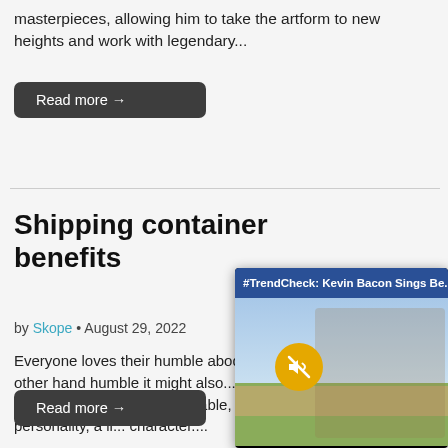masterpieces, allowing him to take the artform to new heights and work with legendary...
Read more →
Shipping container benefits
by Skope • August 29, 2022
Everyone loves their humble abode, on the other hand humble it might also... thought of a home is... most comfortable, s... your personality, a li... character....
Read more →
[Figure (screenshot): Video popup overlay with header '#TrendCheck: Kevin Bacon Sings Be...' on a dark blue background with an X close button. The video thumbnail shows a person playing guitar outdoors with a sky background, grass and fence, and a yellow mute button overlay.]